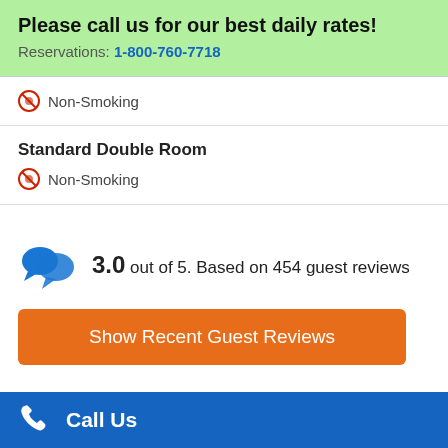Please call us for our best daily rates!
Reservations: 1-800-760-7718
Non-Smoking
Standard Double Room
Non-Smoking
3.0 out of 5. Based on 454 guest reviews
Show Recent Guest Reviews
Call Us